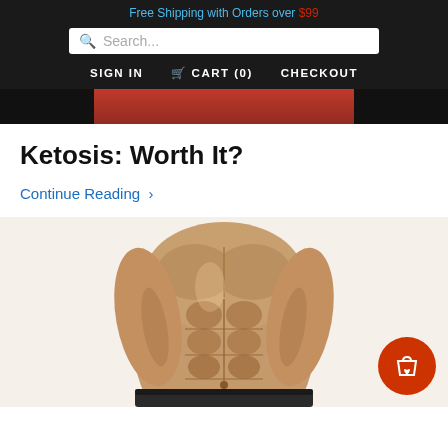Free Shipping with Orders over $99
Search...
SIGN IN  CART (0)  CHECKOUT
[Figure (photo): Partial view of red clothing/background at top of page]
Ketosis: Worth It?
Continue Reading ›
[Figure (photo): Muscular male torso showing defined abdominal muscles, shirtless, dark pants/belt visible at bottom, white background]
[Figure (other): Floating orange/red circular cart button with shopping bag and heart icon in bottom right corner]